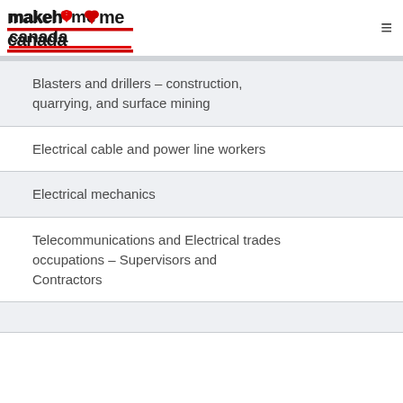[Figure (logo): Make Home Canada logo with stylized text and red maple leaf heart icon and red bars under 'canada']
Blasters and drillers – construction, quarrying, and surface mining
Electrical cable and power line workers
Electrical mechanics
Telecommunications and Electrical trades occupations – Supervisors and Contractors